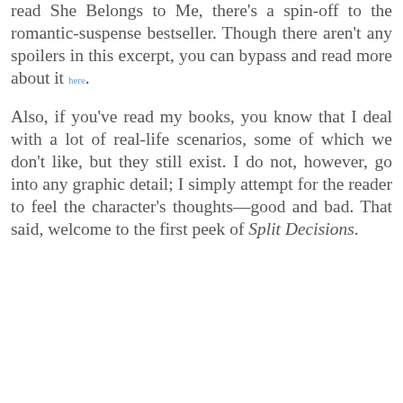read She Belongs to Me, there's a spin-off to the romantic-suspense bestseller. Though there aren't any spoilers in this excerpt, you can bypass and read more about it here. Also, if you've read my books, you know that I deal with a lot of real-life scenarios, some of which we don't like, but they still exist. I do not, however, go into any graphic detail; I simply attempt for the reader to feel the character's thoughts—good and bad. That said, welcome to the first peek of Split Decisions.